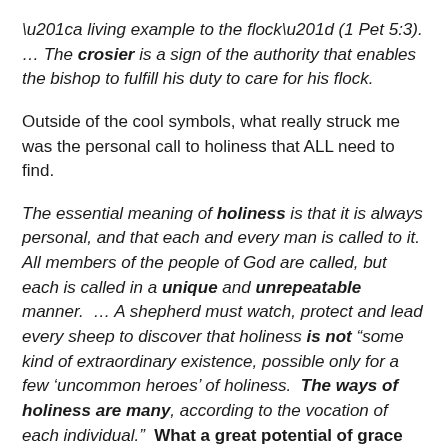“a living example to the flock” (1 Pet 5:3). … The crosier is a sign of the authority that enables the bishop to fulfill his duty to care for his flock.
Outside of the cool symbols, what really struck me was the personal call to holiness that ALL need to find.
The essential meaning of holiness is that it is always personal, and that each and every man is called to it. All members of the people of God are called, but each is called in a unique and unrepeatable manner. … A shepherd must watch, protect and lead every sheep to discover that holiness is not “some kind of extraordinary existence, possible only for a few ‘uncommon heroes’ of holiness. The ways of holiness are many, according to the vocation of each individual.” What a great potential of grace lies dormant in the vast numbers of the